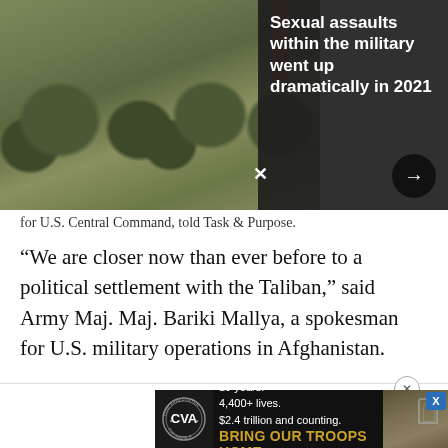[Figure (photo): Photo of U.S. military soldiers in camouflage gear huddles together, with a flag visible in background. Dark overlay card on the right shows text about sexual assaults in the military with a navigation arrow button.]
for U.S. Central Command, told Task & Purpose.
"We are closer now than ever before to a political settlement with the Taliban," said Army Maj. Maj. Bariki Mallya, a spokesman for U.S. military operations in Afghanistan.
[Figure (infographic): Advertisement for Concerned Veterans for America: '19 years. 4,400+ lives. $2.4 trillion and counting. BRING OUR TROOPS HOME']